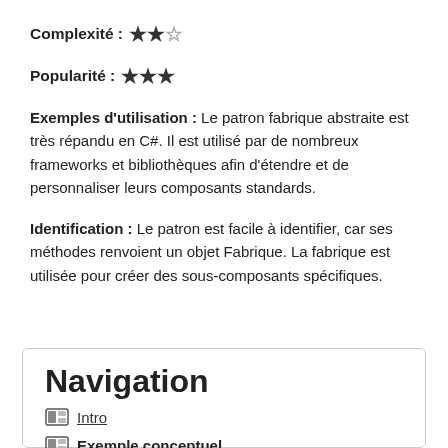Complexité : ★★☆
Popularité : ★★★
Exemples d'utilisation : Le patron fabrique abstraite est très répandu en C#. Il est utilisé par de nombreux frameworks et bibliothèques afin d'étendre et de personnaliser leurs composants standards.
Identification : Le patron est facile à identifier, car ses méthodes renvoient un objet Fabrique. La fabrique est utilisée pour créer des sous-composants spécifiques.
Navigation
Intro
Exemple conceptuel